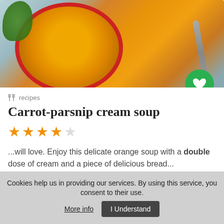[Figure (photo): Bowl of carrot-parsnip cream soup with parsley and spoon on gray background, with green heart/favorite button overlay]
recipes
Carrot-parsnip cream soup
4 stars out of 5
...will love. Enjoy this delicate orange soup with a double dose of cream and a piece of delicious bread...
Similar recipes like Carrot-parsnip cream soup
♥ 4   👍 51   ⏱ 45 min
[Figure (photo): Partial image of a second recipe card below]
Cookies help us in providing our services. By using this service, you consent to their use. More info   I Understand